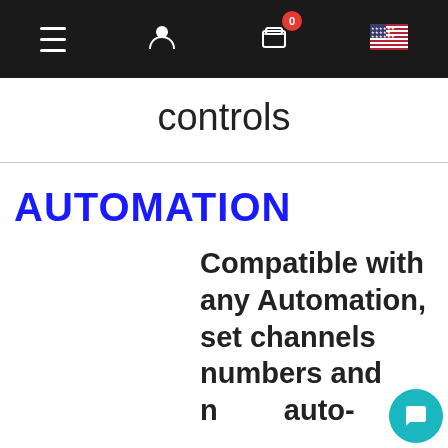[Figure (screenshot): Website navigation bar with hamburger menu, user icon, cart icon with badge showing 0, and US flag icon on dark background]
controls
AUTOMATION
Compatible with any Automation, set channels numbers and name auto-
[Figure (screenshot): Chat popup overlay with group avatar icon, close button (×), and message 'Got any questions? I'm happy to help.']
lly.
Then Usually the Automation controls the